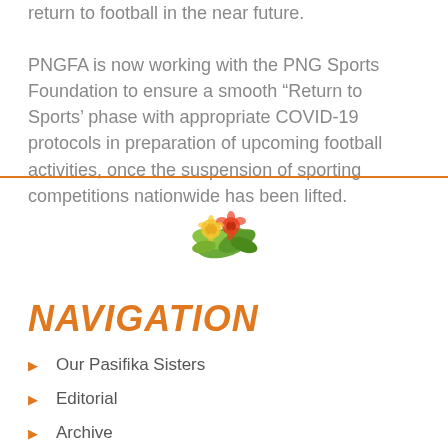return to football in the near future. PNGFA is now working with the PNG Sports Foundation to ensure a smooth “Return to Sports’ phase with appropriate COVID-19 protocols in preparation of upcoming football activities, once the suspension of sporting competitions nationwide has been lifted.
[Figure (logo): Colorful decorative logo with flowers and foliage]
NAVIGATION
Our Pasifika Sisters
Editorial
Archive